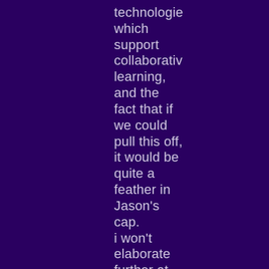technologie which support collaborativ learning, and the fact that if we could pull this off, it would be quite a feather in Jason's cap.

i won't elaborate further at this point of time, in order to be fair to Jason and